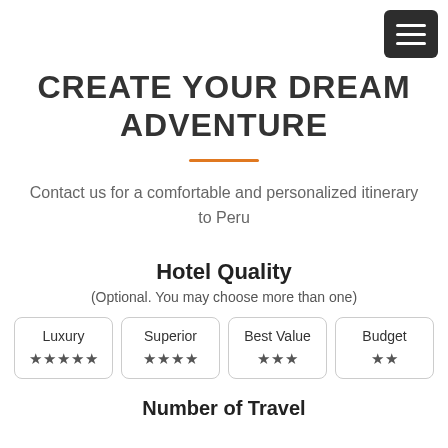[Figure (other): Dark rounded rectangle hamburger menu button with three white horizontal lines]
CREATE YOUR DREAM ADVENTURE
Contact us for a comfortable and personalized itinerary to Peru
Hotel Quality
(Optional. You may choose more than one)
| Luxury | Superior | Best Value | Budget |
| --- | --- | --- | --- |
| ★★★★★ | ★★★★ | ★★★ | ★★ |
Number of Travel